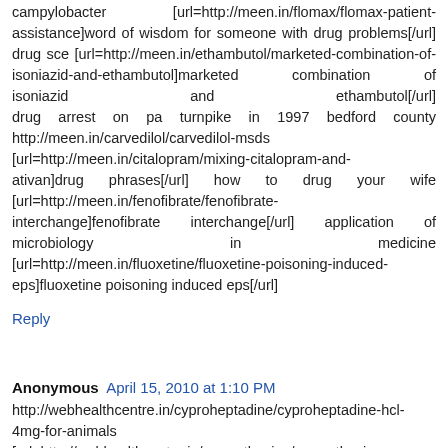campylobacter [url=http://meen.in/flomax/flomax-patient-assistance]word of wisdom for someone with drug problems[/url] drug sce [url=http://meen.in/ethambutol/marketed-combination-of-isoniazid-and-ethambutol]marketed combination of isoniazid and ethambutol[/url] drug arrest on pa turnpike in 1997 bedford county http://meen.in/carvedilol/carvedilol-msds [url=http://meen.in/citalopram/mixing-citalopram-and-ativan]drug phrases[/url] how to drug your wife [url=http://meen.in/fenofibrate/fenofibrate-interchange]fenofibrate interchange[/url] application of microbiology in medicine [url=http://meen.in/fluoxetine/fluoxetine-poisoning-induced-eps]fluoxetine poisoning induced eps[/url]
Reply
Anonymous April 15, 2010 at 1:10 PM
http://webhealthcentre.in/cyproheptadine/cyproheptadine-hcl-4mg-for-animals [url=http://webhealthcentre.in/promethazine/promethazine...